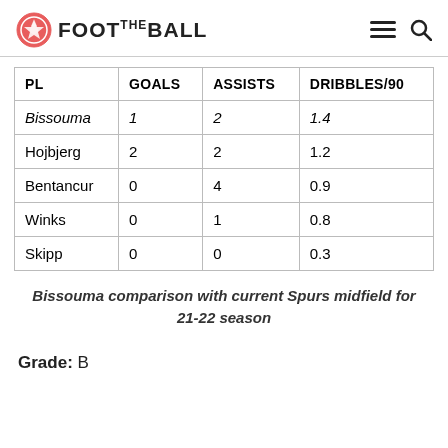FOOT THE BALL
| PL | GOALS | ASSISTS | DRIBBLES/90 |
| --- | --- | --- | --- |
| Bissouma | 1 | 2 | 1.4 |
| Hojbjerg | 2 | 2 | 1.2 |
| Bentancur | 0 | 4 | 0.9 |
| Winks | 0 | 1 | 0.8 |
| Skipp | 0 | 0 | 0.3 |
Bissouma comparison with current Spurs midfield for 21-22 season
Grade: B